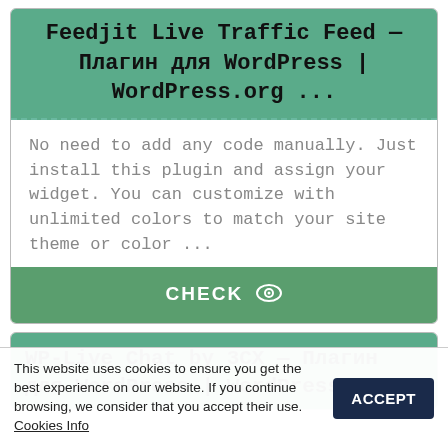Feedjit Live Traffic Feed — Плагин для WordPress | WordPress.org ...
No need to add any code manually. Just install this plugin and assign your widget. You can customize with unlimited colors to match your site theme or color ...
[Figure (other): Green CHECK button with eye icon]
WP-Live Chat by 3CX — Плагин для WordPress | WordPress.org
This website uses cookies to ensure you get the best experience on our website. If you continue browsing, we consider that you accept their use. Cookies Info